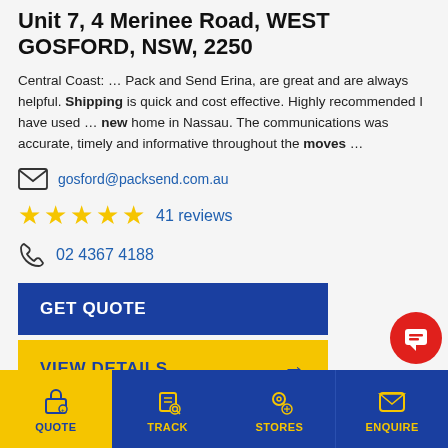Unit 7, 4 Merinee Road, WEST GOSFORD, NSW, 2250
Central Coast: … Pack and Send Erina, are great and are always helpful. Shipping is quick and cost effective. Highly recommended I have used … new home in Nassau. The communications was accurate, timely and informative throughout the moves …
gosford@packsend.com.au
41 reviews
02 4367 4188
GET QUOTE
VIEW DETAILS
QUOTE  TRACK  STORES  ENQUIRE